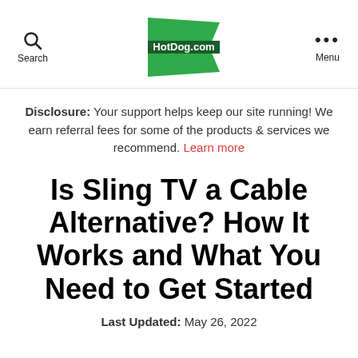Search | HotDog.com | Menu
Disclosure: Your support helps keep our site running! We earn referral fees for some of the products & services we recommend. Learn more
Is Sling TV a Cable Alternative? How It Works and What You Need to Get Started
Last Updated: May 26, 2022